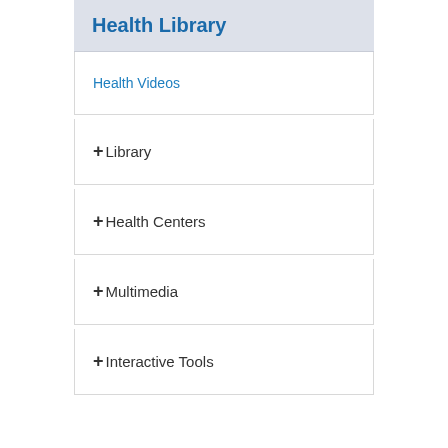Health Library
Health Videos
+ Library
+ Health Centers
+ Multimedia
+ Interactive Tools